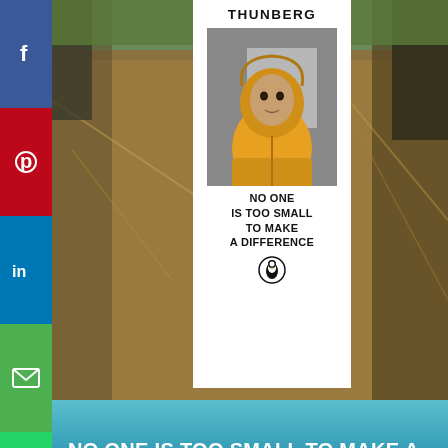[Figure (photo): Social media sharing sidebar with Facebook (blue), Pinterest (red), LinkedIn (blue), Email (green), and WhatsApp (green) buttons on the left side]
[Figure (photo): Book cover of 'No One Is Too Small to Make a Difference' by Greta Thunberg, shown overlaid on a background photo of a field with dry hay/straw. The book cover shows Thunberg in a yellow hoodie.]
NO ONE IS TOO SMALL TO MAKE A DIFFERENCE
We use cookies to optimize our website and our service. We never share or sell your information.
Accept